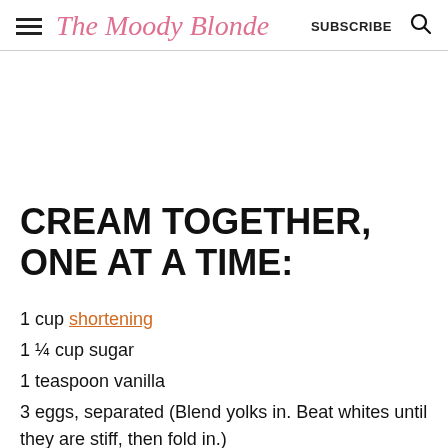The Moody Blonde | SUBSCRIBE
CREAM TOGETHER, ONE AT A TIME:
1 cup shortening
1 ¼ cup sugar
1 teaspoon vanilla
3 eggs, separated (Blend yolks in. Beat whites until they are stiff, then fold in.)